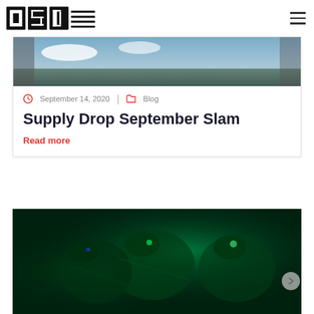OSD (logo) | hamburger menu
[Figure (photo): Aerial military scene with sky and landscape visible from aircraft]
September 14, 2020 | Blog
Supply Drop September Slam
Read more
[Figure (photo): Military soldiers in green night vision lighting inside aircraft]